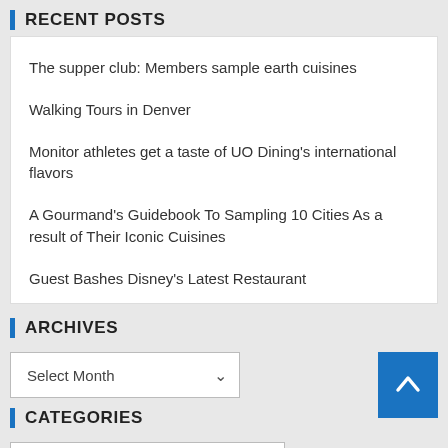RECENT POSTS
The supper club: Members sample earth cuisines
Walking Tours in Denver
Monitor athletes get a taste of UO Dining’s international flavors
A Gourmand’s Guidebook To Sampling 10 Cities As a result of Their Iconic Cuisines
Guest Bashes Disney’s Latest Restaurant
ARCHIVES
Select Month (dropdown)
CATEGORIES
Select Category (dropdown)